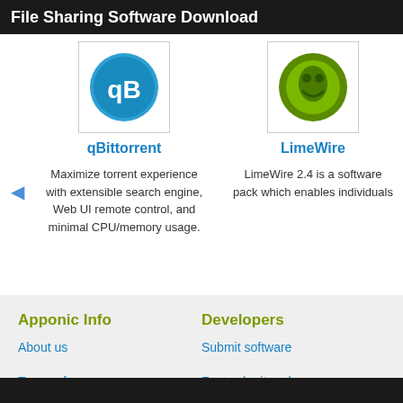File Sharing Software Download
[Figure (logo): qBittorrent logo - blue circle with qB letters]
qBittorrent
Maximize torrent experience with extensible search engine, Web UI remote control, and minimal CPU/memory usage.
[Figure (logo): LimeWire logo - green circular fruit icon]
LimeWire
LimeWire 2.4 is a software pack which enables individuals
Apponic Info
About us
Terms of use
Privacy policy
Contact us
Developers
Submit software
Fast submit and u
Promote software
Advertise on App